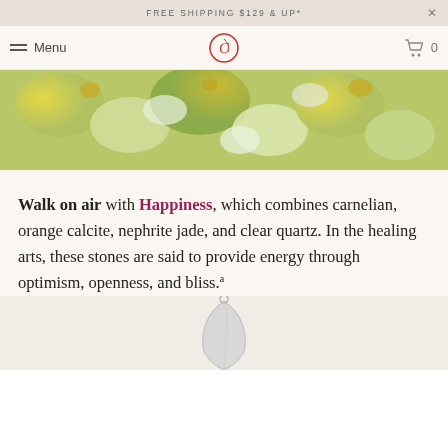FREE SHIPPING $129 & UP*
[Figure (screenshot): Website navigation bar with hamburger menu, 'Menu' text, circular logo with stylized C/Q letter mark, and shopping cart icon with 0 count]
[Figure (photo): Close-up photograph of gemstones including yellow/green carnelian, orange calcite, nephrite jade, and clear quartz crystals]
Walk on air with Happiness, which combines carnelian, orange calcite, nephrite jade, and clear quartz. In the healing arts, these stones are said to provide energy through optimism, openness, and bliss.a
[Figure (photo): Partial view of a silver/white jewelry piece at bottom of page]